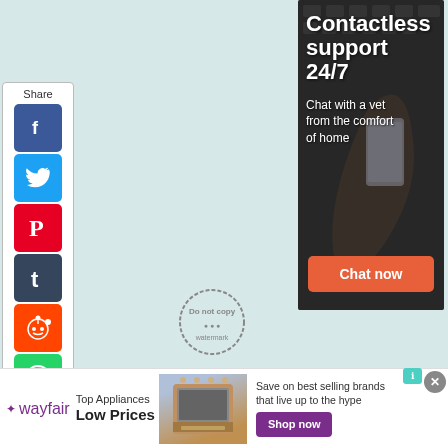[Figure (infographic): Share sidebar with social media icons: Facebook, Twitter, Pinterest, Tumblr, Reddit, WhatsApp, Messenger, and a collapse arrow button]
[Figure (infographic): Vertical advertisement banner showing a hand holding a smartphone with text 'Contactless support 24/7', 'Chat with a vet from the comfort of home', and an orange 'Chat now' button]
[Figure (infographic): Wayfair bottom banner advertisement: logo, 'Top Appliances Low Prices', appliance image, 'Save on best selling brands that live up to the hype', 'Shop now' button]
[Figure (other): Do not copy watermark circle stamp]